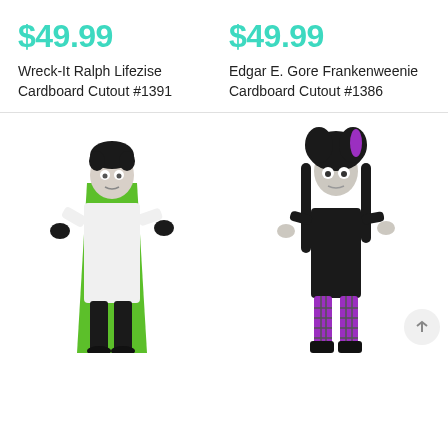$49.99
Wreck-It Ralph Lifezise Cardboard Cutout #1391
$49.99
Edgar E. Gore Frankenweenie Cardboard Cutout #1386
[Figure (illustration): Cardboard cutout figure of Edgar E. Gore from Frankenweenie, wearing a white coat with a green cape, black pants, black hair]
[Figure (illustration): Cardboard cutout figure of a girl from Frankenweenie with black hair and purple highlights, wearing a black dress with plaid purple stockings]